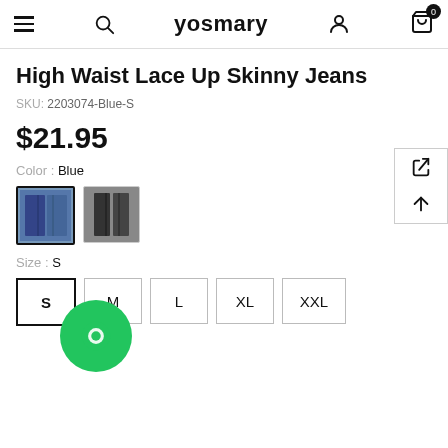yosmary
High Waist Lace Up Skinny Jeans
SKU: 2203074-Blue-S
$21.95
Color : Blue
[Figure (photo): Two color swatch thumbnails: blue jeans and black jeans]
Size : S
Size options: S, M, L, XL, XXL